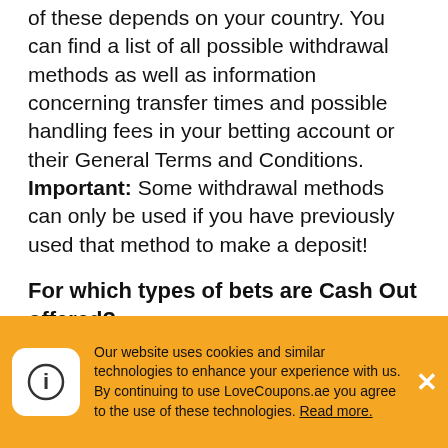of these depends on your country. You can find a list of all possible withdrawal methods as well as information concerning transfer times and possible handling fees in your betting account or their General Terms and Conditions. Important: Some withdrawal methods can only be used if you have previously used that method to make a deposit!
For which types of bets are Cash Out offered?
Cash-out is available for all single and combi bets, which were placed before an event started or live. There are no restrictions as regards sports or types of bets, except for bets
Our website uses cookies and similar technologies to enhance your experience with us. By continuing to use LoveCoupons.ae you agree to the use of these technologies. Read more.